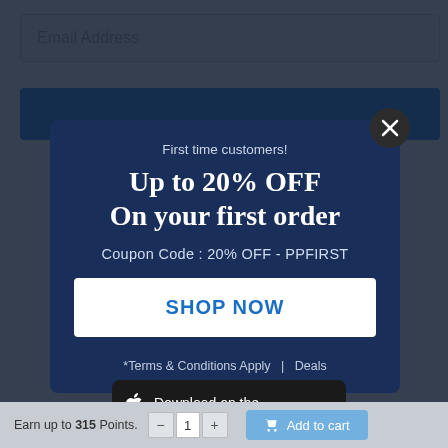[Figure (screenshot): Email address input field with gray background]
[Figure (screenshot): Blue subscribe button partially visible behind popup]
[Figure (screenshot): Popup modal with dark navy background showing first-time customer discount offer: 'First time customers! Up to 20% OFF On your first order. Coupon Code: 20% OFF - PPFIRST. SHOP NOW button. *Terms & Conditions Apply | Deals']
[Figure (screenshot): Download on the App Store banner button]
Earn up to 315 Points.
Add to cart